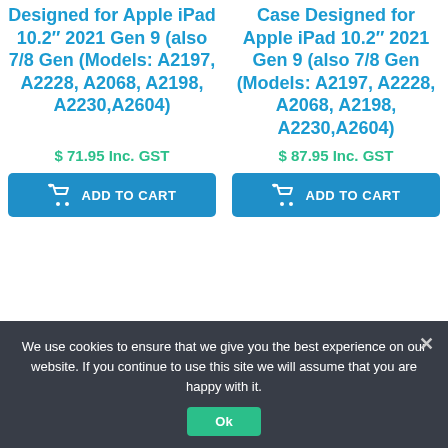Designed for Apple iPad 10.2" 2021 Gen 9 (also 7/8 Gen (Models: A2197, A2228, A2068, A2198, A2230,A2604)
Case Designed for Apple iPad 10.2" 2021 Gen 9 (also 7/8 Gen (Models: A2197, A2228, A2068, A2198, A2230,A2604)
$ 71.95 Inc. GST
$ 87.95 Inc. GST
ADD TO CART
ADD TO CART
We use cookies to ensure that we give you the best experience on our website. If you continue to use this site we will assume that you are happy with it.
Ok